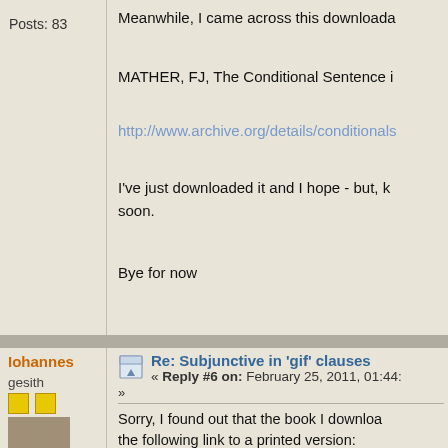Posts: 83
Meanwhile, I came across this downloada
MATHER, FJ, The Conditional Sentence i
http://www.archive.org/details/conditionals
I've just downloaded it and I hope - but, k soon.
Bye for now
Iohannes
gesith
Posts: 83
Re: Subjunctive in 'gif' clauses
« Reply #6 on: February 25, 2011, 01:44:
Sorry, I found out that the book I downloa the following link to a printed version:
http://www.archive.org/details/cu31924020
I hope you'll enjoy it.